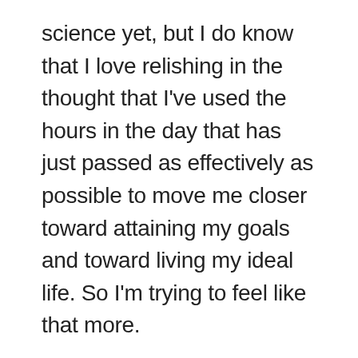science yet, but I do know that I love relishing in the thought that I've used the hours in the day that has just passed as effectively as possible to move me closer toward attaining my goals and toward living my ideal life. So I'm trying to feel like that more.
That's all I have for now, friends. Let's chat again soon!